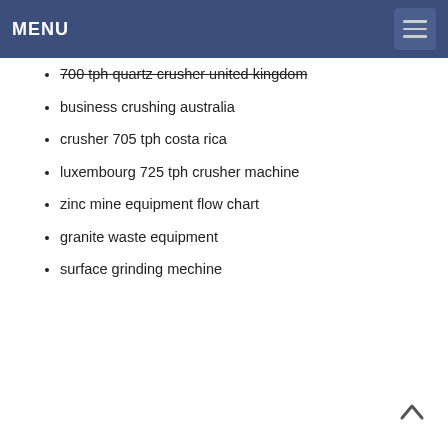MENU
700 tph quartz crusher united kingdom
business crushing australia
crusher 705 tph costa rica
luxembourg 725 tph crusher machine
zinc mine equipment flow chart
granite waste equipment
surface grinding mechine